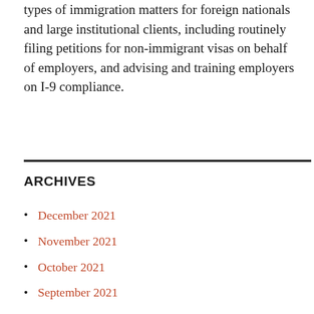types of immigration matters for foreign nationals and large institutional clients, including routinely filing petitions for non-immigrant visas on behalf of employers, and advising and training employers on I-9 compliance.
ARCHIVES
December 2021
November 2021
October 2021
September 2021
July 2021